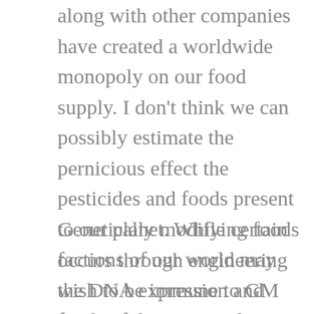along with other companies have created a worldwide monopoly on our food supply. I don't think we can possibly estimate the pernicious effect the pesticides and foods present to our planet. While certain factions of our world may wish to be immune to GM foods, if this monopolization continues everyone will inevitably be affected.
Genetically modifying foods occurs through engineering the DNA expression and altering the genetic makeup of the seeds, creating a new unnatural strain of plant. This is sometimes done with